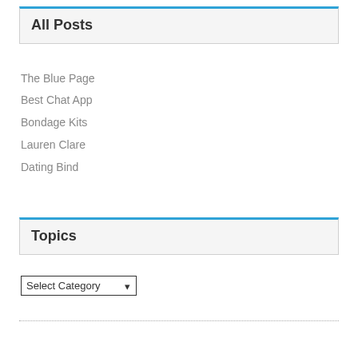All Posts
The Blue Page
Best Chat App
Bondage Kits
Lauren Clare
Dating Bind
Topics
Select Category